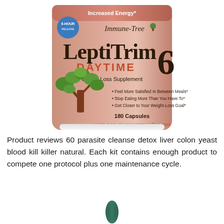[Figure (photo): LeptiTrim 6 Daytime Weight-Loss Supplement bottle by Immune-Tree, showing 180 capsules, with a tree logo, bullet points about benefits, and website www.ImmuneTree.com]
Product reviews 60 parasite cleanse detox liver colon yeast blood kill killer natural. Each kit contains enough product to compete one protocol plus one maintenance cycle.
[Figure (photo): A single dark green/teal capsule pill]